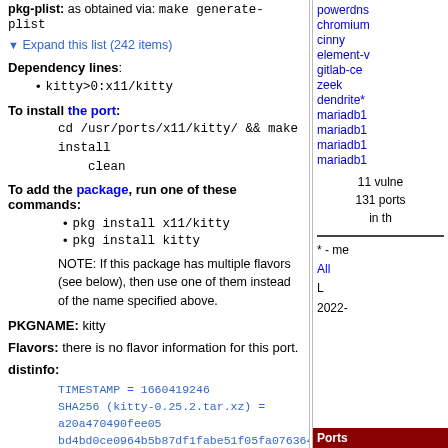pkg-plist: as obtained via: make generate-plist
▼ Expand this list (242 items)
Dependency lines:
kitty>0:x11/kitty
To install the port:
cd /usr/ports/x11/kitty/ && make install clean
To add the package, run one of these commands:
pkg install x11/kitty
pkg install kitty
NOTE: If this package has multiple flavors (see below), then use one of them instead of the name specified above.
PKGNAME: kitty
Flavors: there is no flavor information for this port.
distinfo:
TIMESTAMP = 1660419246
SHA256 (kitty-0.25.2.tar.xz) = a20a470490fee05bd4bd0ce0964b5b87df1fabe51f05fa076364bbfe2ee4e03c
SIZE (kitty-0.25.2.tar.xz) = 4681940
Packages (timestamps in pop-ups are UTC):
kitty
powerdns chromium cinny element-v gitlab-ce zeek dendrite* mariadb1 mariadb1 mariadb1 mariadb1
11 vulnerabilities 131 ports in th
* - me All L 2022-